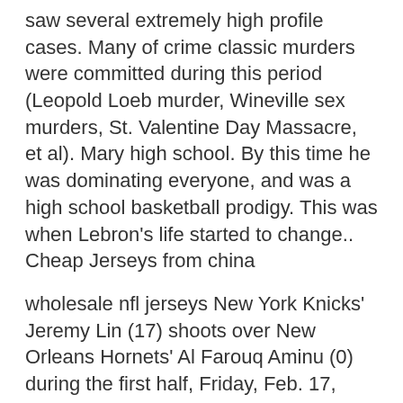saw several extremely high profile cases. Many of crime classic murders were committed during this period (Leopold Loeb murder, Wineville sex murders, St. Valentine Day Massacre, et al). Mary high school. By this time he was dominating everyone, and was a high school basketball prodigy. This was when Lebron's life started to change.. Cheap Jerseys from china
wholesale nfl jerseys New York Knicks' Jeremy Lin (17) shoots over New Orleans Hornets' Al Farouq Aminu (0) during the first half, Friday, Feb. 17, 2012, in New York. Lin scored 26 points, but his turnovers nearly doubled his five assists, and the wholesale jerseys Knicks lost for the first time with Lin as a starter in an 89 85 loss to the Hornets.. wholesale nfl jerseys
cheap nfl jerseys You go, you going to see Rider jerseys, whether they are even playing or not. You see Rider bikinis in Mexico; (the team) is all over, said Weist. Think that it just, everybody wants to be a part of it. Lake depths generally average three to six feet, with